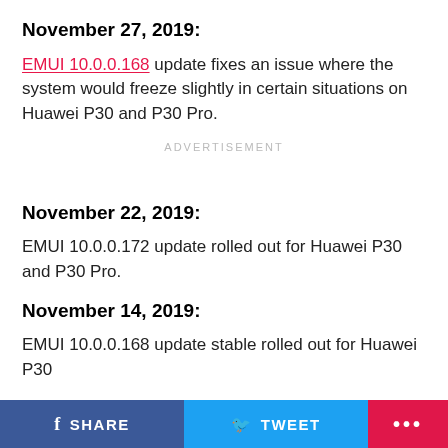November 27, 2019:
EMUI 10.0.0.168 update fixes an issue where the system would freeze slightly in certain situations on Huawei P30 and P30 Pro.
ADVERTISEMENT
November 22, 2019:
EMUI 10.0.0.172 update rolled out for Huawei P30 and P30 Pro.
November 14, 2019:
EMUI 10.0.0.168 update stable rolled out for Huawei P30
SHARE   TWEET   ...